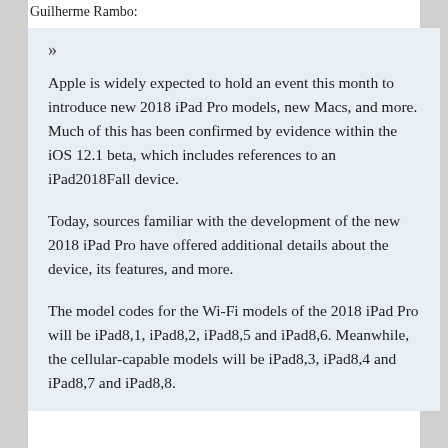Guilherme Rambo:
»
Apple is widely expected to hold an event this month to introduce new 2018 iPad Pro models, new Macs, and more. Much of this has been confirmed by evidence within the iOS 12.1 beta, which includes references to an iPad2018Fall device.
Today, sources familiar with the development of the new 2018 iPad Pro have offered additional details about the device, its features, and more.
The model codes for the Wi-Fi models of the 2018 iPad Pro will be iPad8,1, iPad8,2, iPad8,5 and iPad8,6. Meanwhile, the cellular-capable models will be iPad8,3, iPad8,4 and iPad8,7 and iPad8,8.